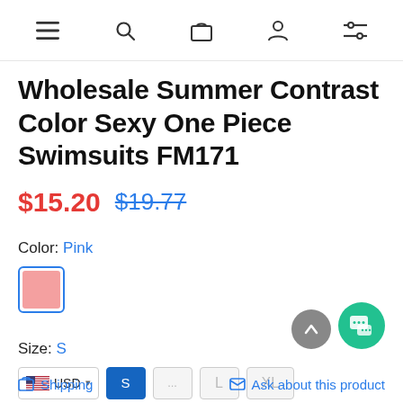Navigation bar with menu, search, cart, account, filter icons
Wholesale Summer Contrast Color Sexy One Piece Swimsuits FM171
$15.20  $19.77
Color: Pink
Size: S
USD  ...  L  XL
Shipping   Ask about this product